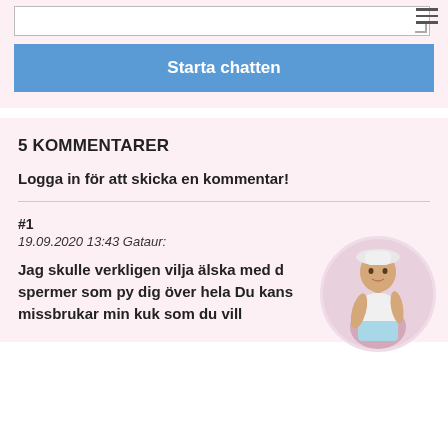[textarea input box]
Starta chatten
5 KOMMENTARER
Logga in för att skicka en kommentar!
#1
19.09.2020 13:43 Gataur:

Jag skulle verkligen vilja älska med d... spermer som py dig över hela Du kans... missbrukar min kuk som du vill
[Figure (photo): Circular avatar image of a woman in a white top and light blue bottom, posing]